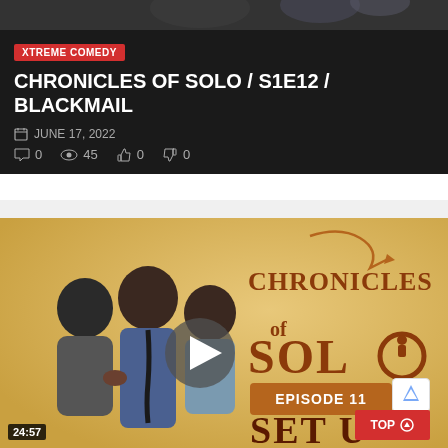[Figure (screenshot): Top portion of a video thumbnail showing people, partially visible, with timestamp 27:40 in top-left corner]
XTREME COMEDY
CHRONICLES OF SOLO / S1E12 / BLACKMAIL
JUNE 17, 2022
0  45  0  0
[Figure (screenshot): Video thumbnail for Chronicles of Solo Episode 11 Set Up, showing three cast members on a golden/orange background with the show logo, a play button overlay, and timestamp 24:57. A red TOP button with arrow appears in the bottom right.]